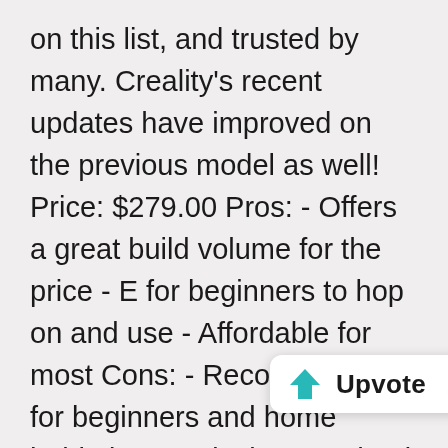on this list, and trusted by many. Creality's recent updates have improved on the previous model as well! Price: $279.00 Pros: - Offers a great build volume for the price - E for beginners to hop on and use - Affordable for most Cons: - Recommended for beginners and home hobbyists, or designers who'd like an at-home, easy printer - Doesn't support a wide variety of materials - Quality printing sometimes requires some
[Figure (infographic): Upvote button bubble showing a teal upward arrow, the word 'Upvote' in bold, and the number 18]